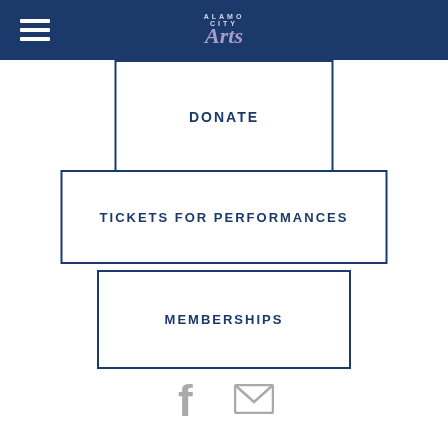Alamo City Arts
DONATE
TICKETS FOR PERFORMANCES
MEMBERSHIPS
[Figure (illustration): Facebook icon and email/envelope icon in gray]